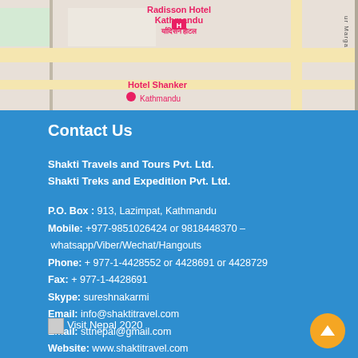[Figure (map): Google Maps view showing Radisson Hotel Kathmandu and Hotel Shanker Kathmandu area]
Contact Us
Shakti Travels and Tours Pvt. Ltd.
Shakti Treks and Expedition Pvt. Ltd.
P.O. Box : 913, Lazimpat, Kathmandu
Mobile: +977-9851026424 or 9818448370 – whatsapp/Viber/Wechat/Hangouts
Phone: + 977-1-4428552 or 4428691 or 4428729
Fax: + 977-1-4428691
Skype: sureshnakarmi
Email: info@shaktitravel.com
Email: sttnepal@gmail.com
Website: www.shaktitravel.com
[Figure (illustration): Visit Nepal 2020 logo/image]